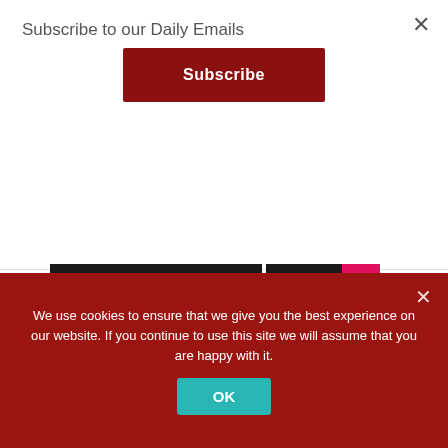Subscribe to our Daily Emails
Subscribe
« Previous Page  1  ...  11  12  13
[Figure (logo): Caretta Research and axinom! advertisement banner with 'Join the great' text on teal background with green pentagon shapes]
We use cookies to ensure that we give you the best experience on our website. If you continue to use this site we will assume that you are happy with it.
OK